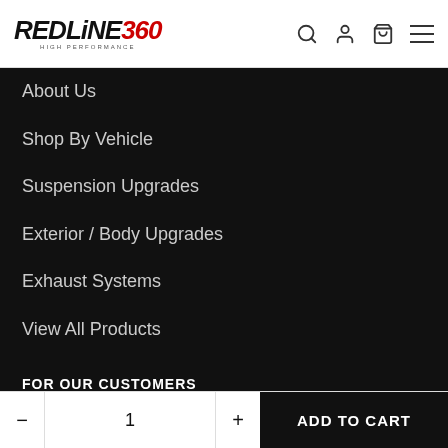REDLINE360 HIGH PERFORMANCE
About Us
Shop By Vehicle
Suspension Upgrades
Exterior / Body Upgrades
Exhaust Systems
View All Products
FOR OUR CUSTOMERS
Contact Us
Extended Product Protection (partially visible)
- 1 + ADD TO CART